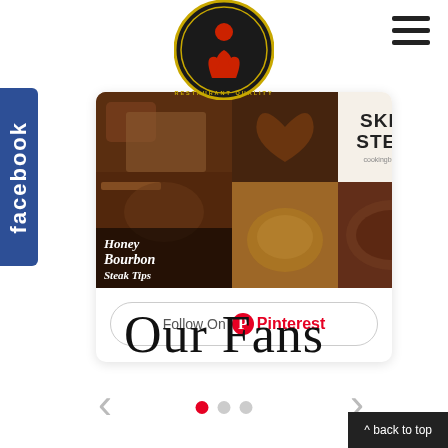[Figure (logo): Restaurant Quality circular logo with red silhouette figure on black/gold background]
[Figure (other): Hamburger/menu icon (three horizontal lines) in top right corner]
[Figure (other): Facebook side tab on left edge, vertical blue tab with 'facebook' text]
[Figure (photo): Pinterest widget showing food photos: Honey Bourbon Steak Tips, chocolate heart cake, Skirt Steak text card, roast chicken, and steak. Below is a Follow On Pinterest button.]
Our Fans
[Figure (other): Left navigation arrow (chevron)]
[Figure (other): Carousel dots: three dots with first one red/active]
[Figure (other): Right navigation arrow (chevron)]
^ back to top